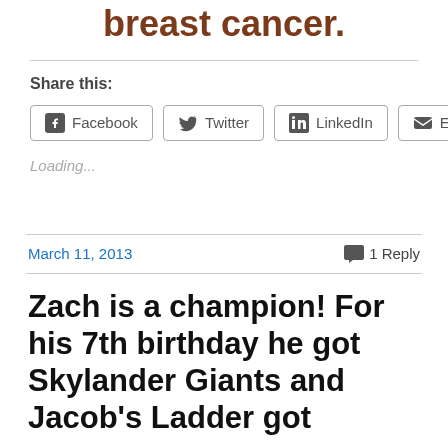breast cancer.
Share this:
Facebook  Twitter  LinkedIn  Email
Loading...
March 11, 2013
1 Reply
Zach is a champion! For his 7th birthday he got Skylander Giants and Jacob's Ladder got